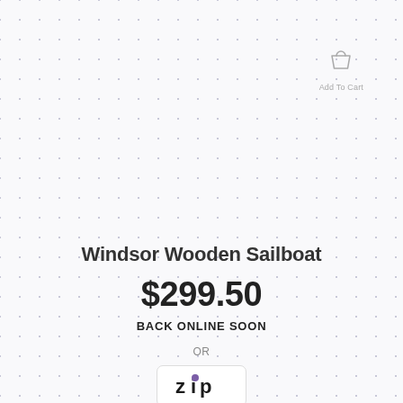[Figure (illustration): Shopping bag / Add To Cart icon with label text below]
Windsor Wooden Sailboat
$299.50
BACK ONLINE SOON
OR
[Figure (logo): Zip payment logo — white rounded rectangle with 'zip' text and a purple dot above the 'i']